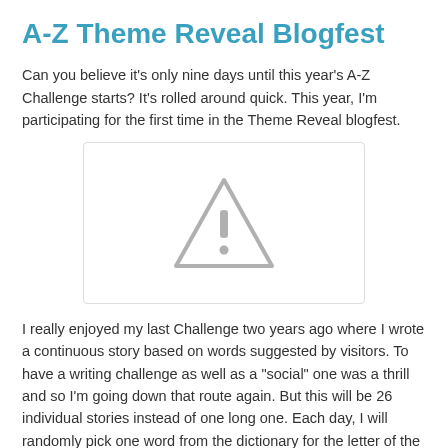A-Z Theme Reveal Blogfest
Can you believe it's only nine days until this year's A-Z Challenge starts? It's rolled around quick. This year, I'm participating for the first time in the Theme Reveal blogfest.
[Figure (other): Placeholder image with a grey triangle warning icon on a white background with a light grey border]
I really enjoyed my last Challenge two years ago where I wrote a continuous story based on words suggested by visitors. To have a writing challenge as well as a "social" one was a thrill and so I'm going down that route again. But this will be 26 individual stories instead of one long one. Each day, I will randomly pick one word from the dictionary for the letter of the day, and write a story based around it. The only